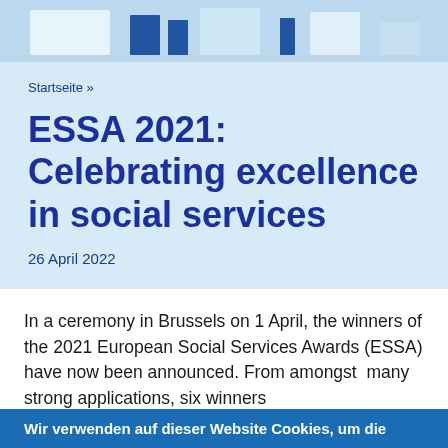[Figure (photo): Partial photo strip at top of page showing a building or event scene with blue tones]
Startseite »
ESSA 2021: Celebrating excellence in social services
26 April 2022
In a ceremony in Brussels on 1 April, the winners of the 2021 European Social Services Awards (ESSA) have now been announced. From amongst  many strong applications, six winners
Wir verwenden auf dieser Website Cookies, um die